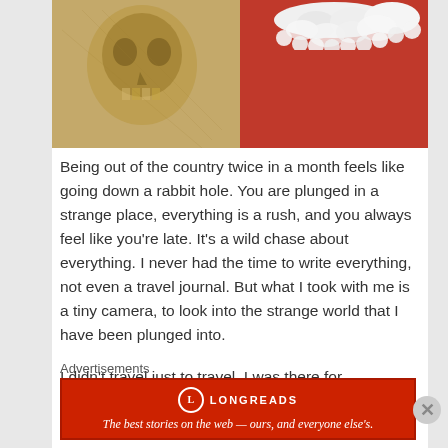[Figure (photo): A partially visible image showing what appears to be an illustrated skull or decorative artwork on the left and a white ruffled fabric or lace collar with a red background on the right.]
Being out of the country twice in a month feels like going down a rabbit hole. You are plunged in a strange place, everything is a rush, and you always feel like you're late. It's a wild chase about everything. I never had the time to write everything, not even a travel journal. But what I took with me is a tiny camera, to look into the strange world that I have been plunged into.
I didn't travel just to travel. I was there for conferences and it was always the first order of business. After that came the museum and gallery
Advertisements
[Figure (logo): Longreads advertisement banner with red background, Longreads logo circle with L, and tagline: The best stories on the web — ours, and everyone else's.]